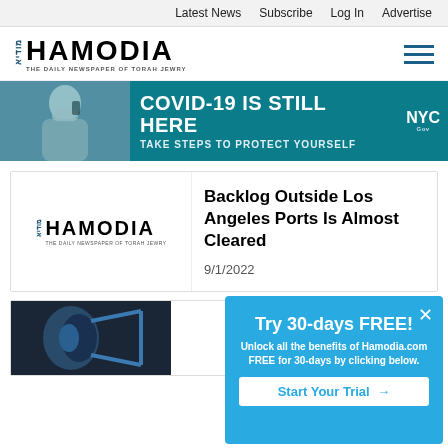Latest News  Subscribe  Log In  Advertise
[Figure (logo): Hamodia logo — THE DAILY NEWSPAPER OF TORAH JEWRY]
[Figure (infographic): COVID-19 IS STILL HERE — TAKE STEPS TO PROTECT YOURSELF — NYC banner ad with masked person on phone]
[Figure (logo): Hamodia logo thumbnail for article]
Backlog Outside Los Angeles Ports Is Almost Cleared
9/1/2022
[Figure (photo): Medical illustration — kidney anatomy image (partial, bottom of page)]
Try 30-days FREE!
Unlock all the benefits of Hamodia.com FREE for 30-days by clicking below.
Start Your Trial →